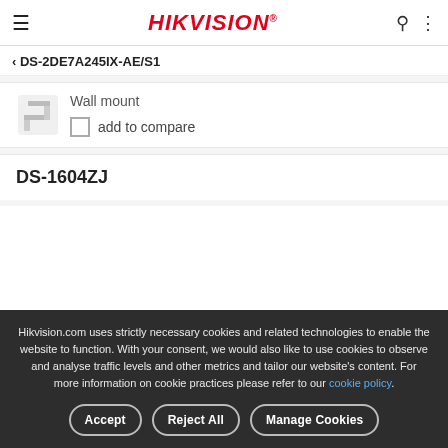≡  HIKVISION®  🔍 ⋮
< DS-2DE7A245IX-AE/S1
[Figure (photo): Wall mount bracket thumbnail image]
Wall mount
add to compare
DS-1604ZJ
Hikvision.com uses strictly necessary cookies and related technologies to enable the website to function. With your consent, we would also like to use cookies to observe and analyse traffic levels and other metrics and tailor our website's content. For more information on cookie practices please refer to our cookie policy.
Accept
Reject All
Manage Cookies